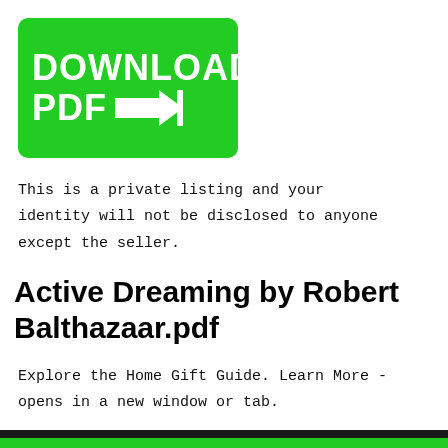[Figure (other): Green download button with white bold text 'DOWNLOAD PDF →|']
This is a private listing and your identity will not be disclosed to anyone except the seller.
Active Dreaming by Robert Balthazaar.pdf
Explore the Home Gift Guide. Learn More - opens in a new window or tab.